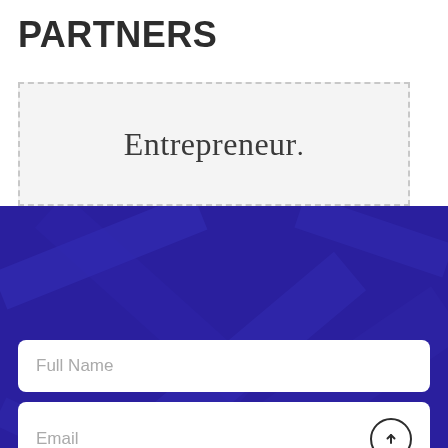PARTNERS
[Figure (logo): Entrepreneur magazine logo displayed in a dashed-border light gray box]
[Figure (screenshot): Dark purple/indigo background section with a web form containing Full Name and Email input fields]
Full Name
Email